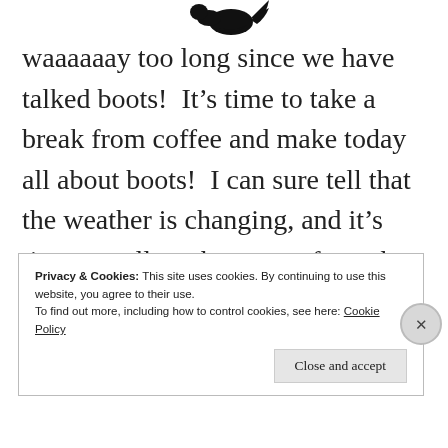[Figure (illustration): Partial black silhouette of a bird at the top center of the page]
waaaaaay too long since we have talked boots!  It's time to take a break from coffee and make today all about boots!  I can sure tell that the weather is changing, and it's time to pull my boots out from the back of the barn.
Privacy & Cookies: This site uses cookies. By continuing to use this website, you agree to their use.
To find out more, including how to control cookies, see here: Cookie Policy
Close and accept